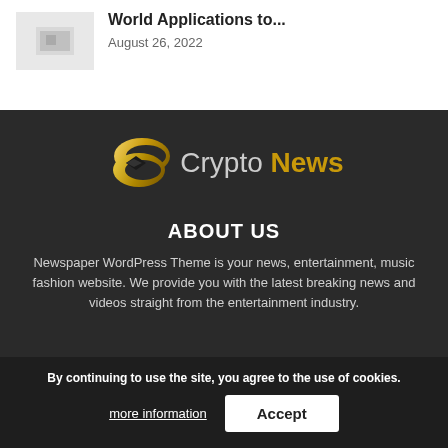[Figure (photo): Article thumbnail image placeholder - grey box with image icon]
World Applications to...
August 26, 2022
[Figure (logo): Crypto News logo - golden C-shaped icon with text 'Crypto News' in grey and gold]
ABOUT US
Newspaper WordPress Theme is your news, entertainment, music fashion website. We provide you with the latest breaking news and videos straight from the entertainment industry.
By continuing to use the site, you agree to the use of cookies. more information Accept